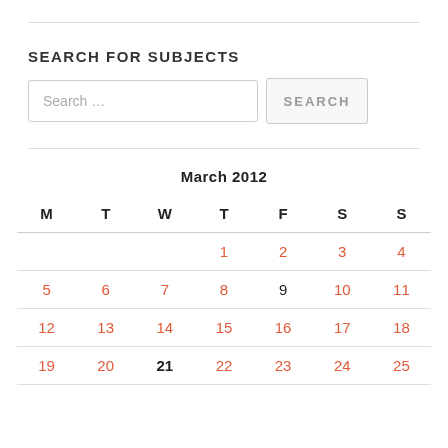SEARCH FOR SUBJECTS
[Figure (screenshot): Search bar with placeholder text 'Search …' and a SEARCH button]
| M | T | W | T | F | S | S |
| --- | --- | --- | --- | --- | --- | --- |
|  |  |  | 1 | 2 | 3 | 4 |
| 5 | 6 | 7 | 8 | 9 | 10 | 11 |
| 12 | 13 | 14 | 15 | 16 | 17 | 18 |
| 19 | 20 | 21 | 22 | 23 | 24 | 25 |